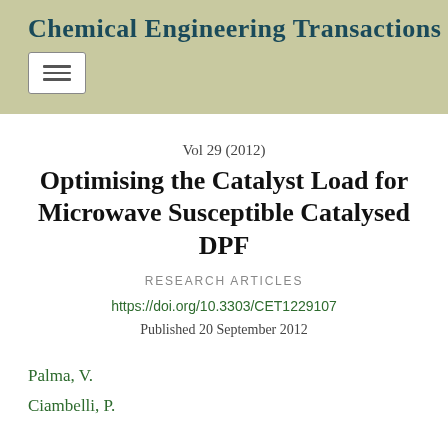Chemical Engineering Transactions
Vol 29 (2012)
Optimising the Catalyst Load for Microwave Susceptible Catalysed DPF
RESEARCH ARTICLES
https://doi.org/10.3303/CET1229107
Published 20 September 2012
Palma, V.
Ciambelli, P.